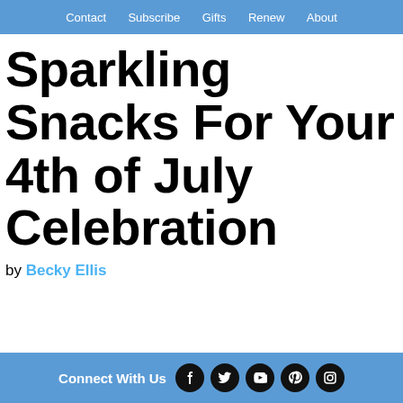Contact  Subscribe  Gifts  Renew  About
Sparkling Snacks For Your 4th of July Celebration
by Becky Ellis
Connect With Us